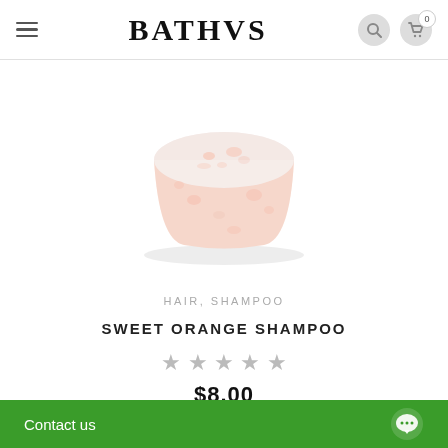BATHVS
[Figure (photo): A round solid shampoo bar with pink/peach and white speckled texture, photographed on a white background.]
HAIR, SHAMPOO
SWEET ORANGE SHAMPOO
★★★★★ (5 stars)
$8.00
Contact us